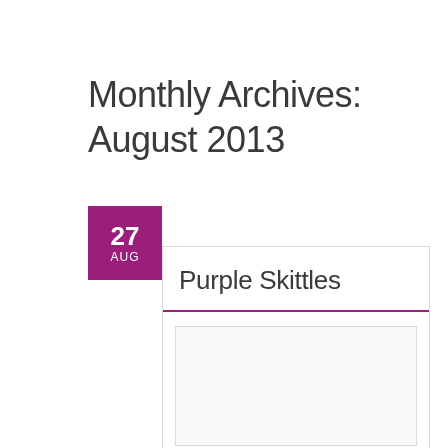Monthly Archives: August 2013
27 AUG
Purple Skittles